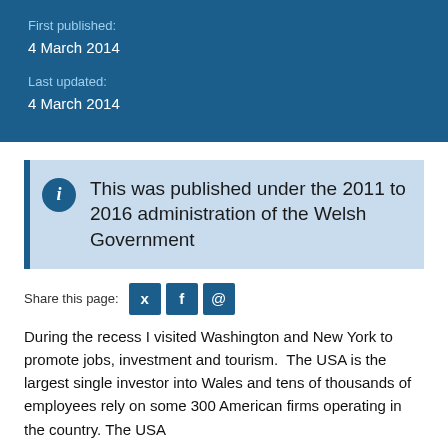First published:
4 March 2014

Last updated:
4 March 2014
This was published under the 2011 to 2016 administration of the Welsh Government
Share this page:
During the recess I visited Washington and New York to promote jobs, investment and tourism.  The USA is the largest single investor into Wales and tens of thousands of employees rely on some 300 American firms operating in the country. The USA